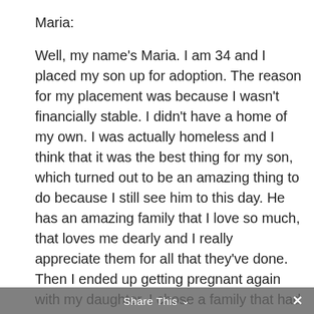Maria:
Well, my name's Maria. I am 34 and I placed my son up for adoption. The reason for my placement was because I wasn't financially stable. I didn't have a home of my own. I was actually homeless and I think that it was the best thing for my son, which turned out to be an amazing thing to do because I still see him to this day. He has an amazing family that I love so much, that loves me dearly and I really appreciate them for all that they've done. Then I ended up getting pregnant again with my daughter. I chose a family that had biological kids of their own, which was my first placement, and then my second placement with my daughter, which I chose a family that couldn't have any kids, and she is actually doing pretty good herself and I'm just happy with the decision that I made because I'm still financially not stable, but I know that my kids are fine and well taken care of, and I do get
Share This ∨  ×